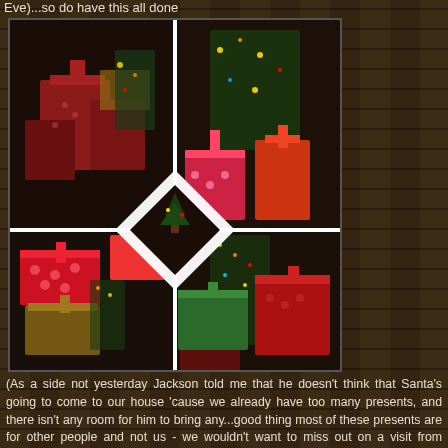Eve)...so do have this all done
[Figure (photo): A photo collage of four images showing wrapped Christmas presents under a Christmas tree with red, green, and patterned wrapping paper and ribbons, arranged in a 2x2 grid with white diamond dividers between them.]
(As a side not yesterday Jackson told me that he doesn't think that Santa's going to come to our house 'cause we already have too many presents, and there isn't any room for him to bring any...good thing most of these presents are for other people and not us - we wouldn't want to miss out on a visit from Santa!)